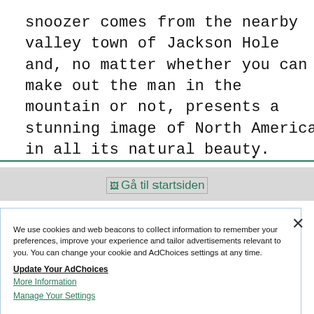snoozer comes from the nearby valley town of Jackson Hole and, no matter whether you can make out the man in the mountain or not, presents a stunning image of North America in all its natural beauty.
[Figure (logo): Gå til startsiden logo/image placeholder link]
We use cookies and web beacons to collect information to remember your preferences, improve your experience and tailor advertisements relevant to you. You can change your cookie and AdChoices settings at any time.
Update Your AdChoices
More Information
Manage Your Settings